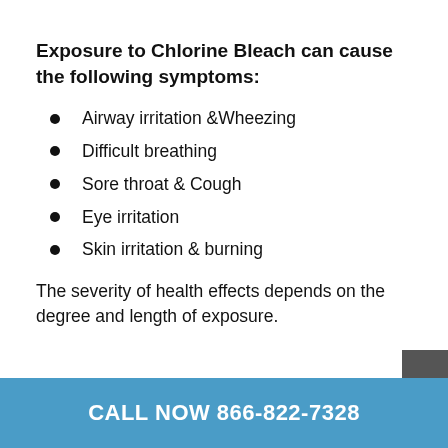Exposure to Chlorine Bleach can cause the following symptoms:
Airway irritation &Wheezing
Difficult breathing
Sore throat & Cough
Eye irritation
Skin irritation & burning
The severity of health effects depends on the degree and length of exposure.
CALL NOW 866-822-7328